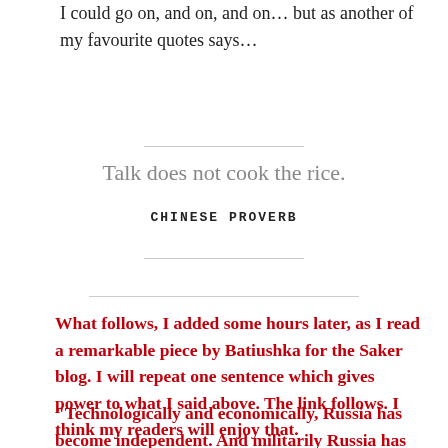I could go on, and on, and on… but as another of my favourite quotes says…
Talk does not cook the rice.
CHINESE PROVERB
What follows, I added some hours later, as I read a remarkable piece by Batiushka for the Saker blog.  I will repeat one sentence which gives power to what I said above.  The link follows.  I think my readers will enjoy that.
“Technologically and economically, Russia has become independent. And militarily Russia has